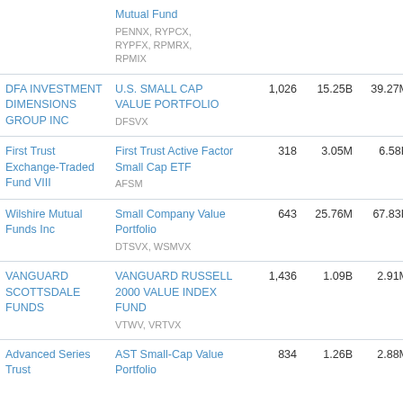| Issuer | Fund | Holdings | AUM | Avg Volume | Expense Ratio |
| --- | --- | --- | --- | --- | --- |
|  | Mutual Fund
PENNX, RYPCX, RYPFX, RPMRX, RPMIX |  |  |  |  |
| DFA INVESTMENT DIMENSIONS GROUP INC | U.S. SMALL CAP VALUE PORTFOLIO
DFSVX | 1,026 | 15.25B | 39.27M | 0.28 |
| First Trust Exchange-Traded Fund VIII | First Trust Active Factor Small Cap ETF
AFSM | 318 | 3.05M | 6.58K | 0.27 |
| Wilshire Mutual Funds Inc | Small Company Value Portfolio
DTSVX, WSMVX | 643 | 25.76M | 67.83K | 0.27 |
| VANGUARD SCOTTSDALE FUNDS | VANGUARD RUSSELL 2000 VALUE INDEX FUND
VTWV, VRTVX | 1,436 | 1.09B | 2.91M | 0.27 |
| Advanced Series Trust | AST Small-Cap Value Portfolio | 834 | 1.26B | 2.88M | 0.27 |